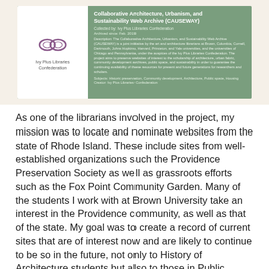[Figure (infographic): A card/panel with green background showing 'Collaborative Architecture, Urbanism, and Sustainability Web Archive (CAUSEWAY)' collected by Ivy Plus Libraries Confederation, with logo on white left panel and descriptive text on green right panel]
As one of the librarians involved in the project, my mission was to locate and nominate websites from the state of Rhode Island. These include sites from well-established organizations such the Providence Preservation Society as well as grassroots efforts such as the Fox Point Community Garden. Many of the students I work with at Brown University take an interest in the Providence community, as well as that of the state. My goal was to create a record of current sites that are of interest now and are likely to continue to be so in the future, not only to History of Architecture students but also to those in Public Humanities, Urban Studies, Ethnic Studies, and other areas of study and learning.